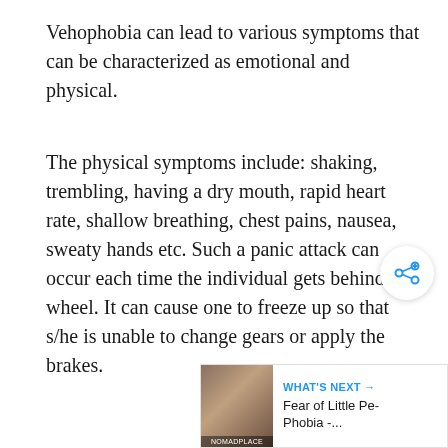Vehophobia can lead to various symptoms that can be characterized as emotional and physical.
The physical symptoms include: shaking, trembling, having a dry mouth, rapid heart rate, shallow breathing, chest pains, nausea, sweaty hands etc. Such a panic attack can occur each time the individual gets behind the wheel. It can cause one to freeze up so that s/he is unable to change gears or apply the brakes.
[Figure (other): Share button icon (circular button with share/network icon)]
[Figure (other): What's Next card with thumbnail image and text 'Fear of Little Pe- Phobia -...']